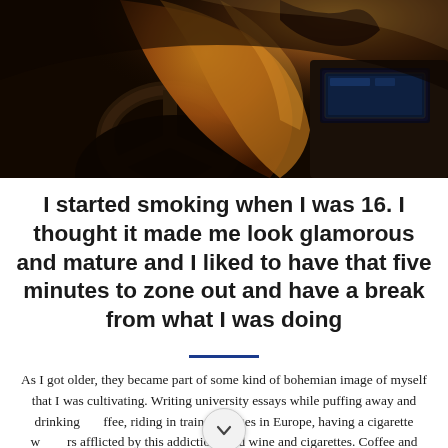[Figure (photo): Woman with long wavy blonde hair sitting in a car interior, viewed from behind/side, with warm backlighting and car dashboard visible on the right]
I started smoking when I was 16. I thought it made me look glamorous and mature and I liked to have that five minutes to zone out and have a break from what I was doing
As I got older, they became part of some kind of bohemian image of myself that I was cultivating. Writing university essays while puffing away and drinking coffee, riding in train carriages in Europe, having a cigarette with others afflicted by this addiction. Red wine and cigarettes. Coffee and cigarettes. Autumn leaves